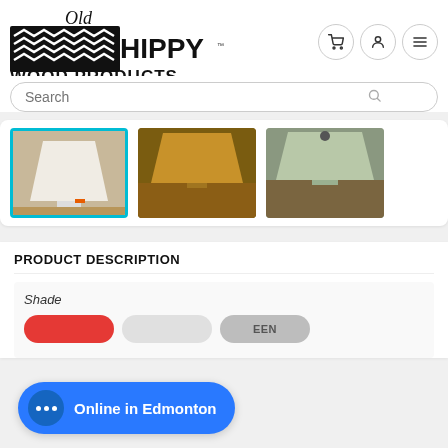[Figure (logo): Old Hippy Wood Products logo — black box with wave pattern and cursive/bold text]
[Figure (screenshot): Navigation icons: shopping cart, user profile, hamburger menu — circular bordered buttons]
[Figure (screenshot): Search bar with placeholder text 'Search' and magnifying glass icon]
[Figure (photo): Three product thumbnail images showing lamp shades on wooden furniture — first selected with teal border]
PRODUCT DESCRIPTION
Shade
Online in Edmonton